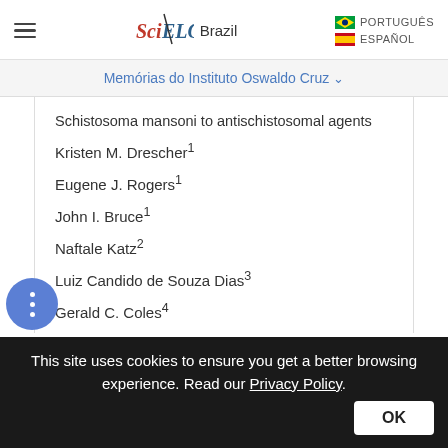SciELO Brazil | PORTUGUÊS | ESPAÑOL
Memórias do Instituto Oswaldo Cruz
Schistosoma mansoni to antischistosomal agents
Kristen M. Drescher¹
Eugene J. Rogers¹
John I. Bruce¹
Naftale Katz²
Luiz Candido de Souza Dias³
Gerald C. Coles⁴
This site uses cookies to ensure you get a better browsing experience. Read our Privacy Policy.